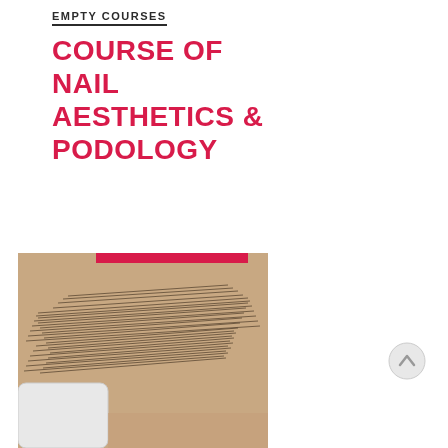EMPTY COURSES
COURSE OF NAIL AESTHETICS & PODOLOGY
[Figure (photo): Close-up photo of a person's eye/brow area with a white nail buffer/block visible, showing nail aesthetics or podology treatment context. A red rectangular bar is positioned at the top of the image.]